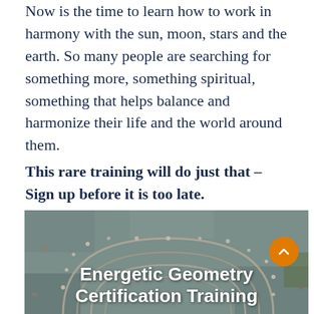Now is the time to learn how to work in harmony with the sun, moon, stars and the earth. So many people are searching for something more, something spiritual, something that helps balance and harmonize their life and the world around them. This rare training will do just that – Sign up before it is too late. Discover why… click here
[Figure (photo): Aerial view of a stone labyrinth/circle pattern on the ground, with overlay text reading 'Energetic Geometry Certification Training']